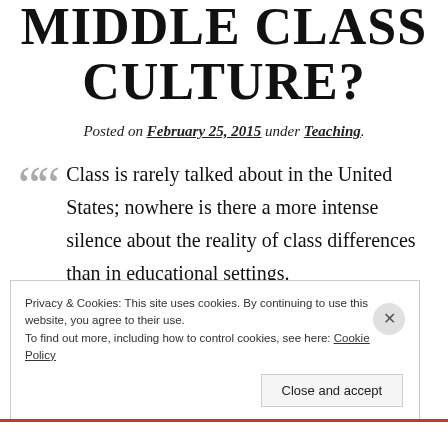MIDDLE CLASS CULTURE?
Posted on February 25, 2015 under Teaching.
Class is rarely talked about in the United States; nowhere is there a more intense silence about the reality of class differences than in educational settings.
Privacy & Cookies: This site uses cookies. By continuing to use this website, you agree to their use. To find out more, including how to control cookies, see here: Cookie Policy